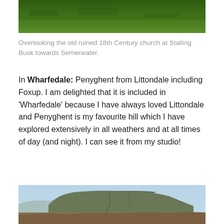[Figure (photo): Partial view of green grassy hillside, cropped at the top of the page]
Overlooking the old ruined 18th Century church at Stalling Busk towards Semerwater.
In Wharfedale: Penyghent from Littondale including Foxup. I am delighted that it is included in 'Wharfedale' because I have always loved Littondale and Penyghent is my favourite hill which I have explored extensively in all weathers and at all times of day (and night). I can see it from my studio!
[Figure (photo): Landscape photo of Penyghent hill viewed from Littondale, showing a flat-topped hill with moorland in the foreground and pale blue sky above]